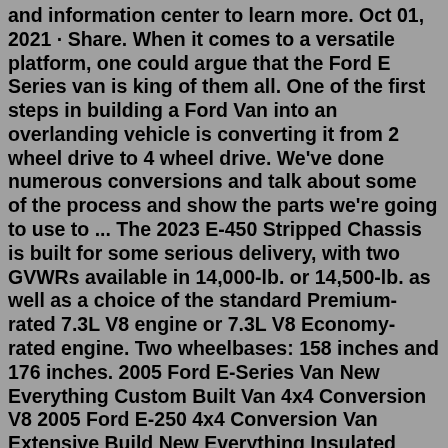and information center to learn more. Oct 01, 2021 · Share. When it comes to a versatile platform, one could argue that the Ford E Series van is king of them all. One of the first steps in building a Ford Van into an overlanding vehicle is converting it from 2 wheel drive to 4 wheel drive. We've done numerous conversions and talk about some of the process and show the parts we're going to use to ... The 2023 E-450 Stripped Chassis is built for some serious delivery, with two GVWRs available in 14,000-lb. or 14,500-lb. as well as a choice of the standard Premium-rated 7.3L V8 engine or 7.3L V8 Economy-rated engine. Two wheelbases: 158 inches and 176 inches. 2005 Ford E-Series Van New Everything Custom Built Van 4x4 Conversion V8 2005 Ford E-250 4x4 Conversion Van Extensive Build New Everything Insulated 4WD. $20,995. Denver, Colorado. Year 2005. 21,998 2014 Ford E-Series Cargo E-150 - E-150 3dr Cargo Van van 23,396 flex fuel white automatic This ford e-150 cargo van has a dependable regular unleaded v-8 4. 6